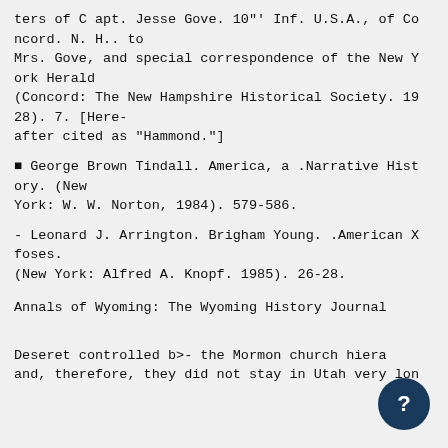ters of C apt. Jesse Gove. 10"' Inf. U.S.A., of Concord. N. H.. to Mrs. Gove, and special correspondence of the New York Herald (Concord: The New Hampshire Historical Society. 1928). 7. [Hereafter cited as "Hammond."]
■ George Brown Tindall. America, a .Narrative History. (New York: W. W. Norton, 1984). 579-586.
- Leonard J. Arrington. Brigham Young. .American X foses. (New York: Alfred A. Knopf. 1985). 26-28.
Annals of Wyoming: The Wyoming History Journal
Deseret controlled b>- the Mormon church hiera and, therefore, they did not stay in Utah very lon